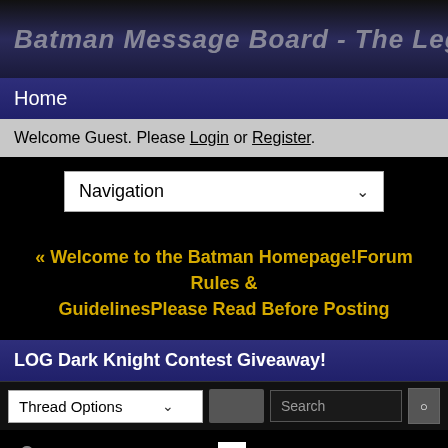Batman Message Board - The Legions of Go
Home
Welcome Guest. Please Login or Register.
[Figure (screenshot): Navigation dropdown menu selector]
« Welcome to the Batman Homepage!Forum Rules & GuidelinesPlease Read Before Posting
LOG Dark Knight Contest Giveaway!
[Figure (screenshot): Thread Options dropdown and search bar]
« Prev  1  2  Next »
Matt
LoG Admin, Editor, Webmaster & Owner